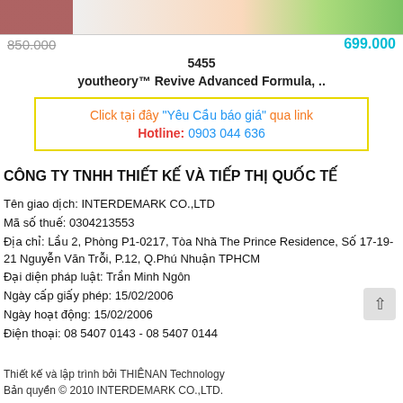[Figure (photo): Product photo partially visible at top of page showing a supplement bottle with floral background]
850.000   699.000
5455
youtheory™ Revive Advanced Formula, ..
Click tại đây "Yêu Cầu báo giá" qua link
Hotline: 0903 044 636
CÔNG TY TNHH THIẾT KẾ VÀ TIẾP THỊ QUỐC TẾ
Tên giao dịch: INTERDEMARK CO.,LTD
Mã số thuế: 0304213553
Địa chỉ: Lầu 2, Phòng P1-0217, Tòa Nhà The Prince Residence, Số 17-19-21 Nguyễn Văn Trỗi, P.12, Q.Phú Nhuận TPHCM
Đại diện pháp luật: Trần Minh Ngôn
Ngày cấp giấy phép: 15/02/2006
Ngày hoạt động: 15/02/2006
Điện thoại: 08 5407 0143 - 08 5407 0144
Thiết kế và lập trình bởi THIÊNAN Technology
Bản quyền © 2010 INTERDEMARK CO.,LTD.